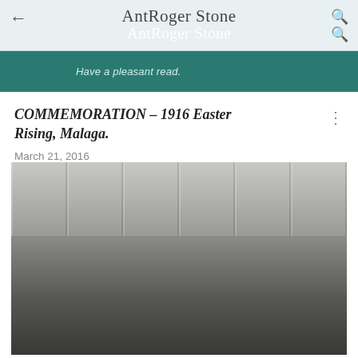AntRogen Stone
Have a pleasant read.
COMMEMORATION – 1916 Easter Rising, Malaga.
March 21, 2016
[Figure (photo): Black and white photo of a person in military uniform with cap, standing in front of a classical building with large columns, arm extended outward. The building resembles the GPO in Dublin.]